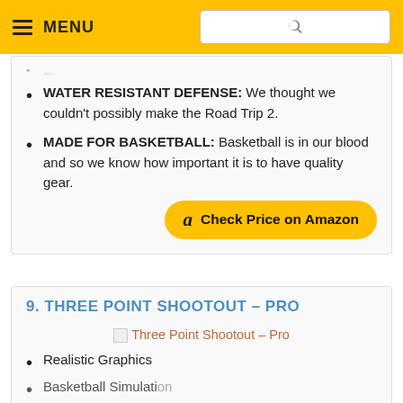MENU [search bar]
WATER RESISTANT DEFENSE: We thought we couldn't possibly make the Road Trip 2.
MADE FOR BASKETBALL: Basketball is in our blood and so we know how important it is to have quality gear.
Check Price on Amazon
9. THREE POINT SHOOTOUT – PRO
[Figure (photo): Three Point Shootout - Pro product image (broken/missing image placeholder with alt text)]
Realistic Graphics
Basketball Simulation [truncated]